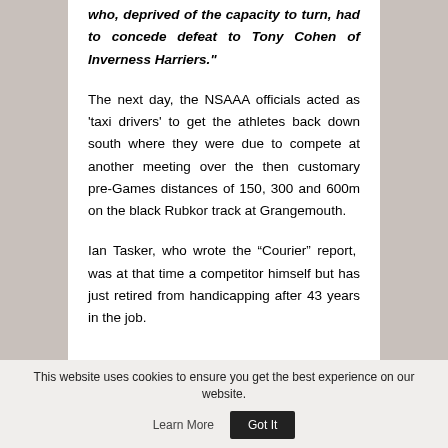who, deprived of the capacity to turn, had to concede defeat to Tony Cohen of Inverness Harriers."
The next day, the NSAAA officials acted as 'taxi drivers' to get the athletes back down south where they were due to compete at another meeting over the then customary pre-Games distances of 150, 300 and 600m on the black Rubkor track at Grangemouth.
Ian Tasker, who wrote the “Courier” report,  was at that time a competitor himself but has just retired from handicapping after 43 years in the job.
This website uses cookies to ensure you get the best experience on our website.